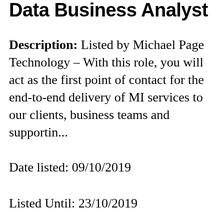Data Business Analyst
Description: Listed by Michael Page Technology – With this role, you will act as the first point of contact for the end-to-end delivery of MI services to our clients, business teams and supportin...
Date listed: 09/10/2019
Listed Until: 23/10/2019